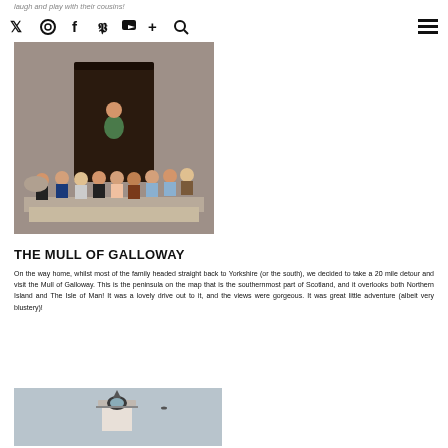laugh and play with their cousins!
[Figure (other): Navigation bar with social media icons: Twitter, Instagram, Facebook, Pinterest, YouTube, plus and search icons, and a hamburger menu icon on the right]
[Figure (photo): Group photo of a woman with many young children (about 12-13 kids) sitting on steps in front of a dark wooden door, stone building backdrop]
THE MULL OF GALLOWAY
On the way home, whilst most of the family headed straight back to Yorkshire (or the south), we decided to take a 20 mile detour and visit the Mull of Galloway. This is the peninsula on the map that is the southernmost part of Scotland, and it overlooks both Northern Island and The Isle of Man! It was a lovely drive out to it, and the views were gorgeous. It was great little adventure (albeit very blustery)!
[Figure (photo): Lighthouse building photographed against a grey sky, only the top portion of the lighthouse tower is visible]